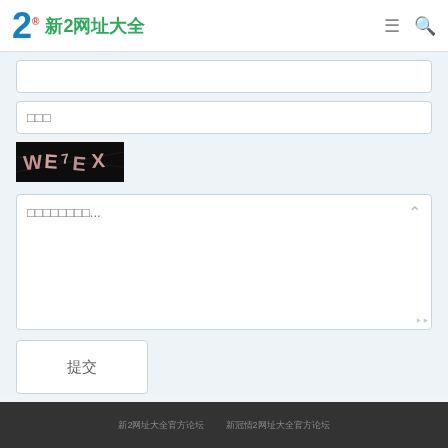2 新2网址大全
□□□
[Figure (other): CAPTCHA image showing text WE7EX on dark background]
□□□□□□□□...
提交
新2网址大全官方论坛   新冠情2网址大全官方论坛